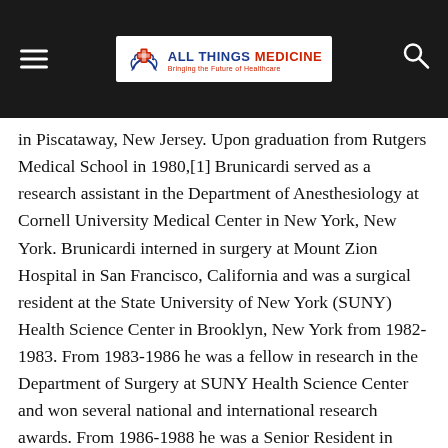All Things Medicine — Bringing the Future of Healthcare
in Piscataway, New Jersey. Upon graduation from Rutgers Medical School in 1980,[1] Brunicardi served as a research assistant in the Department of Anesthesiology at Cornell University Medical Center in New York, New York. Brunicardi interned in surgery at Mount Zion Hospital in San Francisco, California and was a surgical resident at the State University of New York (SUNY) Health Science Center in Brooklyn, New York from 1982-1983. From 1983-1986 he was a fellow in research in the Department of Surgery at SUNY Health Science Center and won several national and international research awards. From 1986-1988 he was a Senior Resident in Surgery at SUNY, and from 1988-1989 he was the Chief Resident of General Surgery at SUNY Health Science Center.
Dana K. Andersen, MD, FACS is Program Director, Division of Digestive Diseases and Nutrition, National Institute of Diabetes